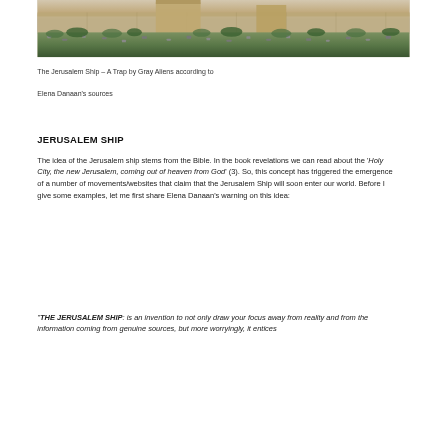[Figure (photo): Photograph of Jerusalem's old city walls with ancient stone fortifications, vegetation and a large crowd or cemetery visible in the foreground]
The Jerusalem Ship – A Trap by Gray Aliens according to Elena Danaan's sources
JERUSALEM SHIP
The idea of the Jerusalem ship stems from the Bible. In the book revelations we can read about the 'Holy City, the new Jerusalem, coming out of heaven from God' (3). So, this concept has triggered the emergence of a number of movements/websites that claim that the Jerusalem Ship will soon enter our world. Before I give some examples, let me first share Elena Danaan's warning on this idea:
"THE JERUSALEM SHIP: is an invention to not only draw your focus away from reality and from the information coming from genuine sources, but more worryingly, it entices